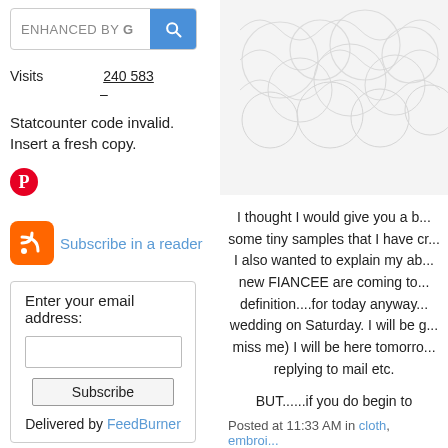[Figure (screenshot): Google search bar with 'ENHANCED BY G' text and blue search button]
Visits    240 583
–
Statcounter code invalid. Insert a fresh copy.
[Figure (logo): Pinterest circular red logo icon]
[Figure (logo): RSS orange feed icon]
Subscribe in a reader
Enter your email address:
Subscribe
Delivered by FeedBurner
[Figure (photo): Close-up photo of white lace or mesh textile fabric]
I thought I would give you a b... some tiny samples that I have cr... I also wanted to explain my ab... new FIANCEE are coming to... definition....for today anyway... wedding on Saturday. I will be g... miss me) I will be here tomorro... replying to mail etc.
BUT......if you do begin to
Posted at 11:33 AM in cloth, embroi... (8)
Tags: embroidery, sampling, video